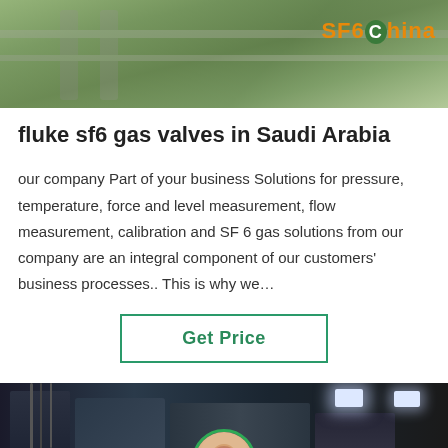[Figure (photo): Top banner photo showing green outdoor scene with metal fence posts and rails; SF6China logo overlay in orange/white on right side]
fluke sf6 gas valves in Saudi Arabia
our company Part of your business Solutions for pressure, temperature, force and level measurement, flow measurement, calibration and SF 6 gas solutions from our company are an integral component of our customers' business processes.. This is why we…
Get Price
[Figure (photo): Bottom industrial machinery photo showing equipment with cables and wiring in a dark factory setting, with ceiling lights visible]
Leave Message   Chat Online